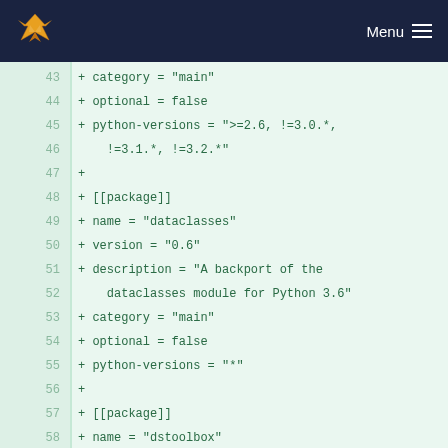Menu
[Figure (screenshot): Code diff view showing lines 43-58 of a configuration file with added lines (marked with +). Lines include package definitions for dataclasses and dstoolbox packages.]